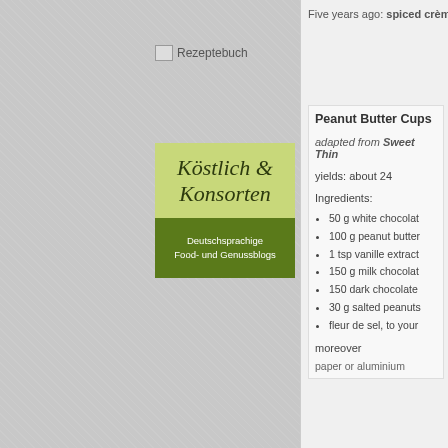[Figure (logo): Rezeptebuch broken image placeholder with text]
[Figure (logo): Köstlich & Konsorten logo — green and olive colored logo with script text 'Köstlich & Konsorten' on light green background and 'Deutschsprachige Food- und Genussblogs' on dark green background]
Five years ago: spiced crèm
Peanut Butter Cups
adapted from Sweet Thin
yields: about 24
Ingredients:
50 g white chocolat
100 g peanut butter
1 tsp vanille extract
150 g milk chocolat
150 dark chocolate
30 g salted peanuts
fleur de sel, to your
moreover
paper or aluminium